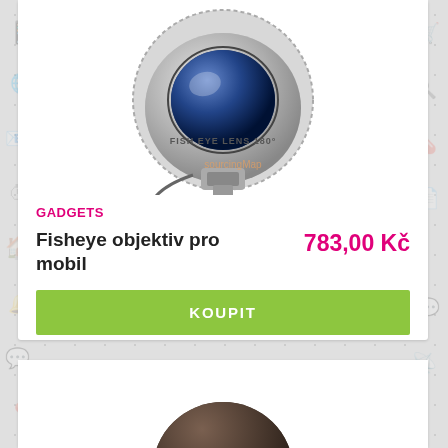[Figure (photo): Fish Eye Lens 180 degree camera lens for mobile phone, silver/white color, photographed on white background with SourcingMap watermark]
GADGETS
Fisheye objektiv pro mobil
783,00 Kč
KOUPIT
[Figure (photo): Partial view of a brown/dark object, possibly a helmet or round gadget, cropped at bottom of page]